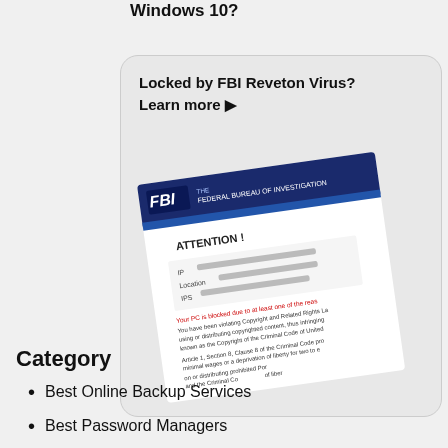Windows 10?
[Figure (screenshot): Ad box showing FBI Reveton Virus warning page screenshot with text 'Locked by FBI Reveton Virus? Learn more ▶' and a screenshot of an FBI ransomware lock screen showing 'ATTENTION!' and IP/Location/IPS details]
Category
Best Online Backup Services
Best Password Managers
Best Security Suites
Best Uninstallers for Windows & Mac